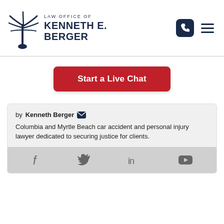[Figure (logo): Law Office of Kenneth E. Berger logo with palmetto tree and crescent moon on left, firm name text on right]
Start a Live Chat
by Kenneth Berger
Columbia and Myrtle Beach car accident and personal injury lawyer dedicated to securing justice for clients.